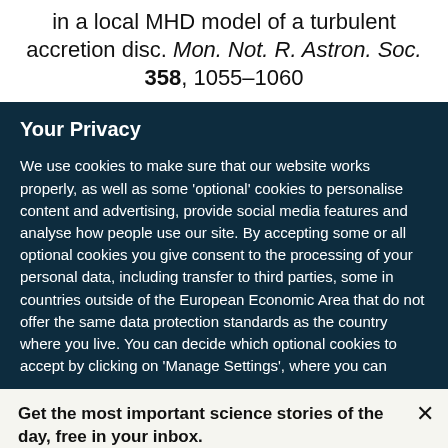in a local MHD model of a turbulent accretion disc. Mon. Not. R. Astron. Soc. 358, 1055–1060
Your Privacy
We use cookies to make sure that our website works properly, as well as some 'optional' cookies to personalise content and advertising, provide social media features and analyse how people use our site. By accepting some or all optional cookies you give consent to the processing of your personal data, including transfer to third parties, some in countries outside of the European Economic Area that do not offer the same data protection standards as the country where you live. You can decide which optional cookies to accept by clicking on 'Manage Settings', where you can
Get the most important science stories of the day, free in your inbox.
Sign up for Nature Briefing